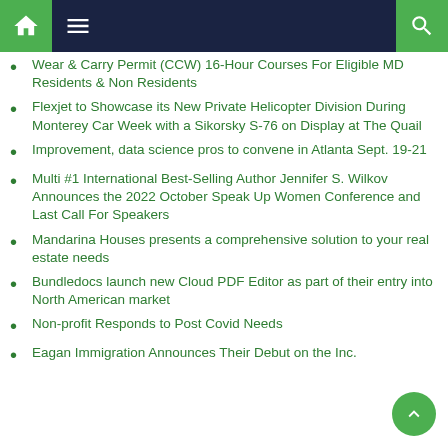Navigation bar with home, menu, and search icons
Wear & Carry Permit (CCW) 16-Hour Courses For Eligible MD Residents & Non Residents
Flexjet to Showcase its New Private Helicopter Division During Monterey Car Week with a Sikorsky S-76 on Display at The Quail
Improvement, data science pros to convene in Atlanta Sept. 19-21
Multi #1 International Best-Selling Author Jennifer S. Wilkov Announces the 2022 October Speak Up Women Conference and Last Call For Speakers
Mandarina Houses presents a comprehensive solution to your real estate needs
Bundledocs launch new Cloud PDF Editor as part of their entry into North American market
Non-profit Responds to Post Covid Needs
Eagan Immigration Announces Their Debut on the Inc.